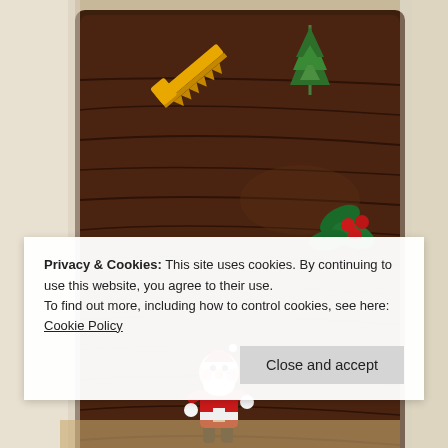[Figure (photo): Close-up photo of a chocolate Yule log cake decorated with a miniature Santa Claus figurine, holly leaves with red berries, a green pine tree sprig, and a yellow saw ornament on top of textured dark chocolate frosting. The cake sits on white icing and there are other decorations visible at the edges.]
Privacy & Cookies: This site uses cookies. By continuing to use this website, you agree to their use.
To find out more, including how to control cookies, see here: Cookie Policy
Close and accept